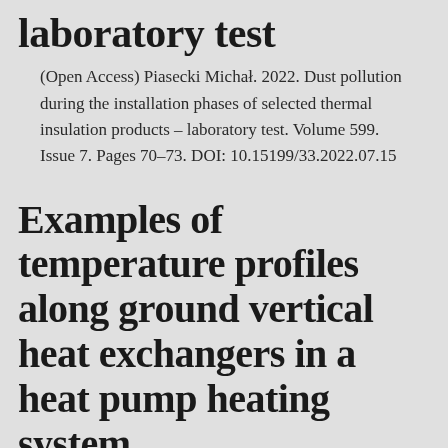laboratory test
(Open Access) Piasecki Michał. 2022. Dust pollution during the installation phases of selected thermal insulation products – laboratory test. Volume 599. Issue 7. Pages 70–73. DOI: 10.15199/33.2022.07.15
Examples of temperature profiles along ground vertical heat exchangers in a heat pump heating system